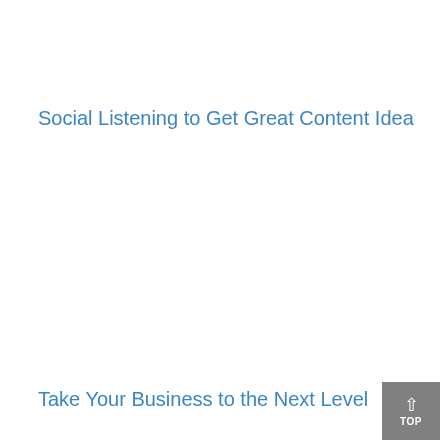Social Listening to Get Great Content Idea
Take Your Business to the Next Level